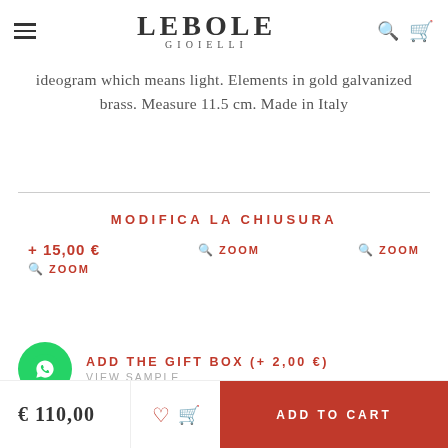LEBOLE GIOIELLI
ideogram which means light. Elements in gold galvanized brass. Measure 11.5 cm. Made in Italy
MODIFICA LA CHIUSURA
+ 15,00 € ZOOM ZOOM ZOOM
ADD THE GIFT BOX (+ 2,00 €) VIEW SAMPLE
€ 110,00 ADD TO CART